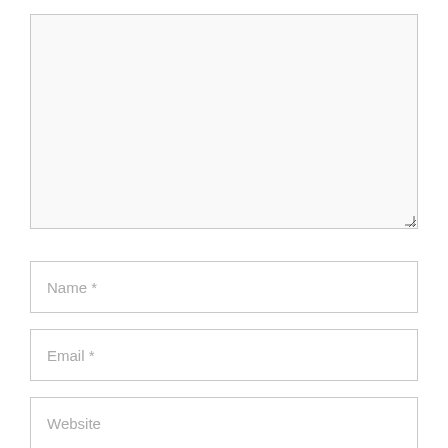[Figure (screenshot): Large text area input box with light gray background and resize handle at bottom right]
Name *
Email *
Website
Save my name, email, and website in this